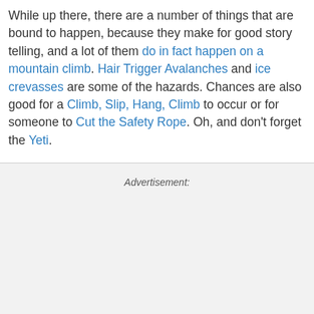While up there, there are a number of things that are bound to happen, because they make for good story telling, and a lot of them do in fact happen on a mountain climb. Hair Trigger Avalanches and ice crevasses are some of the hazards. Chances are also good for a Climb, Slip, Hang, Climb to occur or for someone to Cut the Safety Rope. Oh, and don't forget the Yeti.
Advertisement: